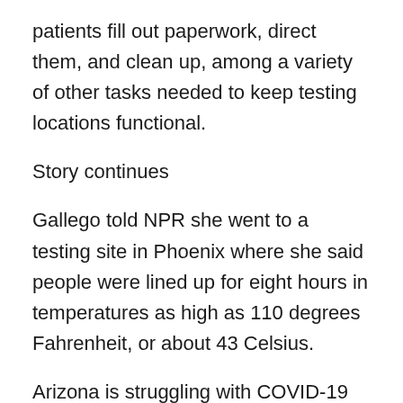patients fill out paperwork, direct them, and clean up, among a variety of other tasks needed to keep testing locations functional.
Story continues
Gallego told NPR she went to a testing site in Phoenix where she said people were lined up for eight hours in temperatures as high as 110 degrees Fahrenheit, or about 43 Celsius.
Arizona is struggling with COVID-19 testing, including getting lab results back in a timely fashion and contact tracing, especially in Maricopa County, where Phoenix is located, which has a county health department. Gallego said she